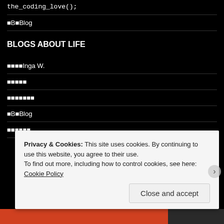the_coding_love();
■B■Blog
BLOGS ABOUT LIFE
■■■■Inga W.
■■■■■
■■■■■■■
■B■Blog
■■■■■■
Privacy & Cookies: This site uses cookies. By continuing to use this website, you agree to their use.
To find out more, including how to control cookies, see here: Cookie Policy
Close and accept